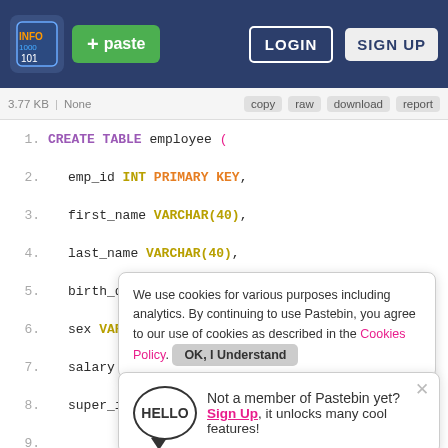+ paste | LOGIN | SIGN UP
3.77 KB | None | copy | raw | download | report
[Figure (screenshot): Pastebin code editor showing SQL CREATE TABLE employee statement with syntax highlighting. Lines 1-16 visible. Two overlay popups: cookie consent banner and 'Not a member of Pastebin yet?' sign-up prompt.]